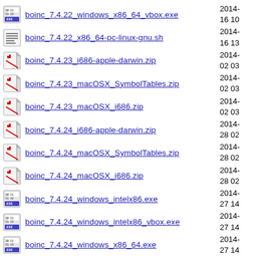boinc_7.4.22_windows_x86_64_vbox.exe 2014-16 10
boinc_7.4.22_x86_64-pc-linux-gnu.sh 2014-16 13
boinc_7.4.23_i686-apple-darwin.zip 2014-02 03
boinc_7.4.23_macOSX_SymbolTables.zip 2014-02 03
boinc_7.4.23_macOSX_i686.zip 2014-02 03
boinc_7.4.24_i686-apple-darwin.zip 2014-28 02
boinc_7.4.24_macOSX_SymbolTables.zip 2014-28 02
boinc_7.4.24_macOSX_i686.zip 2014-28 02
boinc_7.4.24_windows_intelx86.exe 2014-27 14
boinc_7.4.24_windows_intelx86_vbox.exe 2014-27 14
boinc_7.4.24_windows_x86_64.exe 2014-27 14